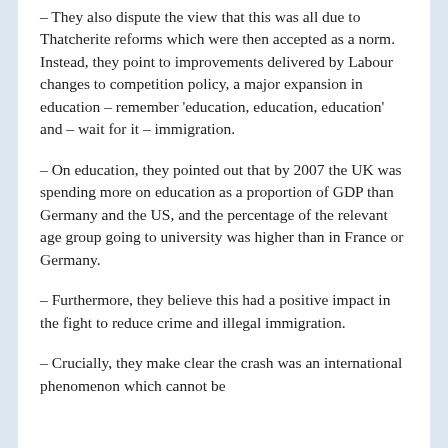– They also dispute the view that this was all due to Thatcherite reforms which were then accepted as a norm. Instead, they point to improvements delivered by Labour changes to competition policy, a major expansion in education – remember 'education, education, education' and – wait for it – immigration.
– On education, they pointed out that by 2007 the UK was spending more on education as a proportion of GDP than Germany and the US, and the percentage of the relevant age group going to university was higher than in France or Germany.
– Furthermore, they believe this had a positive impact in the fight to reduce crime and illegal immigration.
– Crucially, they make clear the crash was an international phenomenon which cannot be